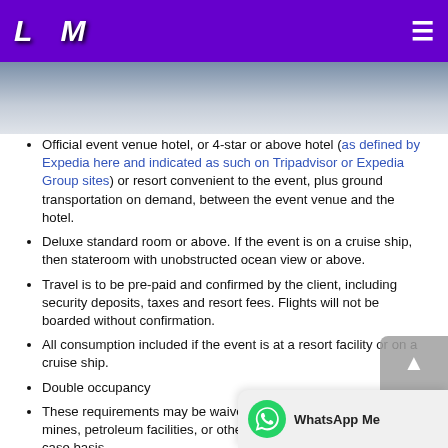L M
[Figure (photo): Partial photo strip showing what appears to be a person, cropped at top of content area]
Official event venue hotel, or 4-star or above hotel (as defined by Expedia here and indicated as such on Tripadvisor or Expedia Group sites) or resort convenient to the event, plus ground transportation on demand, between the event venue and the hotel.
Deluxe standard room or above. If the event is on a cruise ship, then stateroom with unobstructed ocean view or above.
Travel is to be pre-paid and confirmed by the client, including security deposits, taxes and resort fees. Flights will not be boarded without confirmation.
All consumption included if the event is at a resort facility or on a cruise ship.
Double occupancy
These requirements may be waived for rural site visits such as to mines, petroleum facilities, or other remote areas, on a case-by-case basis.